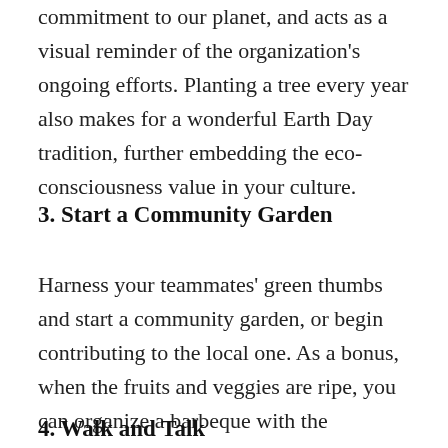commitment to our planet, and acts as a visual reminder of the organization's ongoing efforts. Planting a tree every year also makes for a wonderful Earth Day tradition, further embedding the eco-consciousness value in your culture.
3. Start a Community Garden
Harness your teammates' green thumbs and start a community garden, or begin contributing to the local one. As a bonus, when the fruits and veggies are ripe, you can organize a barbeque with the ingredients that were grown by your team.
4. Walk and Talk